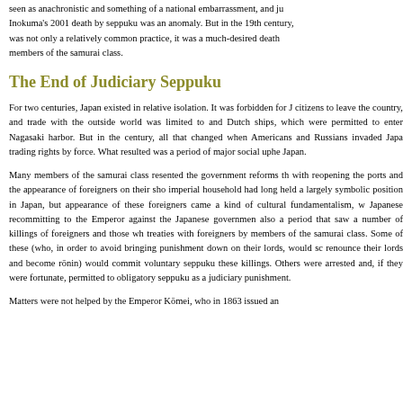seen as anachronistic and something of a national embarrassment, and ju... Inokuma's 2001 death by seppuku was an anomaly. But in the 19th century, was not only a relatively common practice, it was a much-desired death members of the samurai class.
The End of Judiciary Seppuku
For two centuries, Japan existed in relative isolation. It was forbidden for J citizens to leave the country, and trade with the outside world was limited to and Dutch ships, which were permitted to enter Nagasaki harbor. But in the century, all that changed when Americans and Russians invaded Japa trading rights by force. What resulted was a period of major social uphe Japan.
Many members of the samurai class resented the government reforms th with reopening the ports and the appearance of foreigners on their sho imperial household had long held a largely symbolic position in Japan, but appearance of these foreigners came a kind of cultural fundamentalism, w Japanese recommitting to the Emperor against the Japanese governmen also a period that saw a number of killings of foreigners and those wh treaties with foreigners by members of the samurai class. Some of these (who, in order to avoid bringing punishment down on their lords, would sc renounce their lords and become rōnin) would commit voluntary seppuku these killings. Others were arrested and, if they were fortunate, permitted to obligatory seppuku as a judiciary punishment.
Matters were not helped by the Emperor Kōmei, who in 1863 issued an